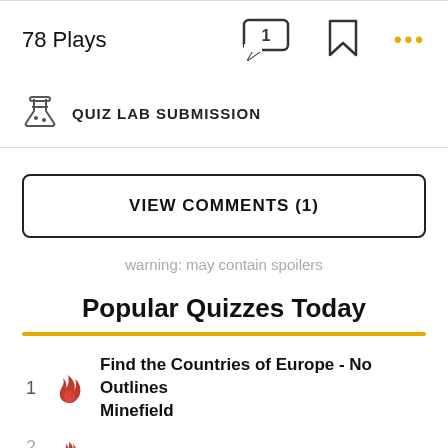78 Plays
QUIZ LAB SUBMISSION
VIEW COMMENTS (1)
warning: may contain spoilers
Popular Quizzes Today
1  Find the Countries of Europe - No Outlines Minefield